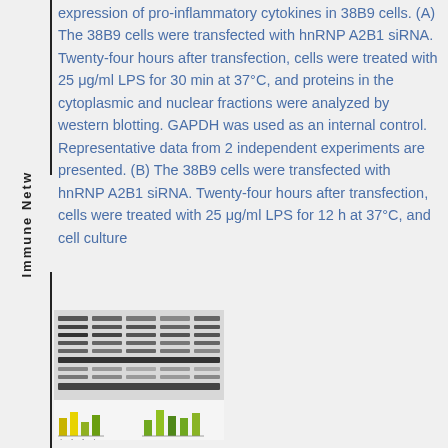expression of pro-inflammatory cytokines in 38B9 cells. (A) The 38B9 cells were transfected with hnRNP A2B1 siRNA. Twenty-four hours after transfection, cells were treated with 25 μg/ml LPS for 30 min at 37°C, and proteins in the cytoplasmic and nuclear fractions were analyzed by western blotting. GAPDH was used as an internal control. Representative data from 2 independent experiments are presented. (B) The 38B9 cells were transfected with hnRNP A2B1 siRNA. Twenty-four hours after transfection, cells were treated with 25 μg/ml LPS for 12 h at 37°C, and cell culture
[Figure (photo): Western blot image showing protein bands and bar chart panels (green and yellow bars) below, representing experimental results for 38B9 cells transfected with hnRNP A2B1 siRNA and treated with LPS.]